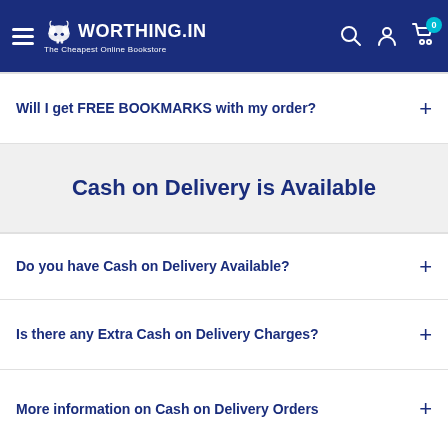WORTHING.IN – The Cheapest Online Bookstore
Will I get FREE BOOKMARKS with my order?
Cash on Delivery is Available
Do you have Cash on Delivery Available?
Is there any Extra Cash on Delivery Charges?
More information on Cash on Delivery Orders